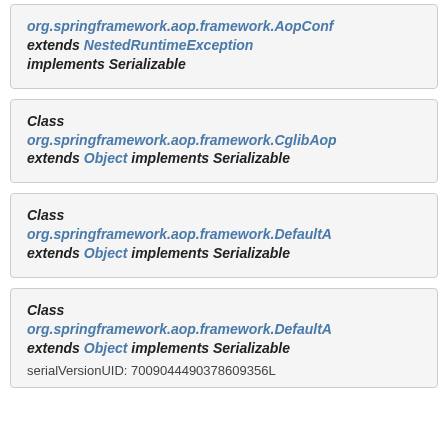org.springframework.aop.framework.AopConf extends NestedRuntimeException implements Serializable
Class org.springframework.aop.framework.CglibAop extends Object implements Serializable
Class org.springframework.aop.framework.DefaultA extends Object implements Serializable
Class org.springframework.aop.framework.DefaultA extends Object implements Serializable serialVersionUID: 7009044490378609356L